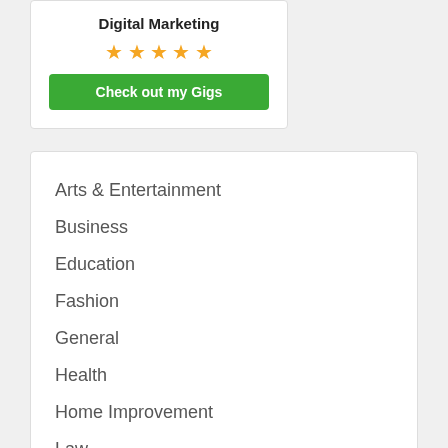Digital Marketing
[Figure (other): Five gold star rating]
Check out my Gigs
Arts & Entertainment
Business
Education
Fashion
General
Health
Home Improvement
Law
Tech
Travel
Trending